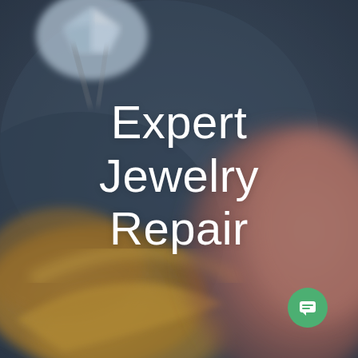[Figure (photo): Close-up macro photograph of a jeweler handling a gold ring with a diamond or crystal gemstone being set using tweezers or a tool. The background is dark slate blue, and a blurred hand/finger is visible in the lower right. The image is out of focus in the foreground and background, with the gemstone in the upper left area.]
Expert Jewelry Repair
[Figure (illustration): Small green circular chat/message button icon in the bottom right corner, containing a white speech bubble with horizontal lines indicating text.]